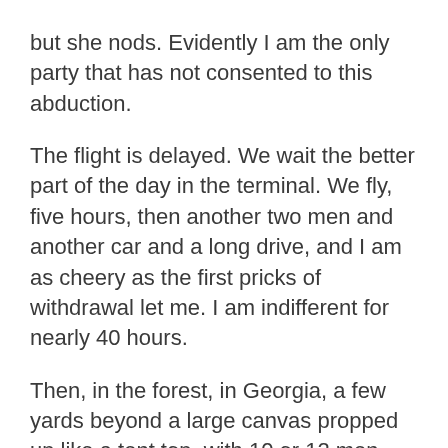but she nods. Evidently I am the only party that has not consented to this abduction.
The flight is delayed. We wait the better part of the day in the terminal. We fly, five hours, then another two men and another car and a long drive, and I am as cheery as the first pricks of withdrawal let me. I am indifferent for nearly 40 hours.
Then, in the forest, in Georgia, a few yards beyond a large canvas propped up like a tent top, with 10 or 12 men below it, away from them I am sitting on something — a stump? A rock? My backpack, I don't remember — and crying. For God's sake, just let me go just let me talk to my parents just let me have a phone just let me convince, I can convince, I get it, I know, I know you can't, but let me just let me just